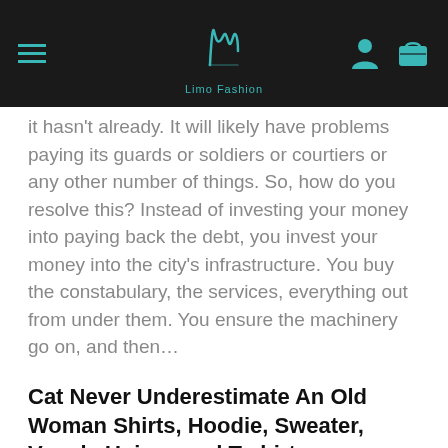Limo Fashion
it hasn't already. It will likely have problems paying its guards or soldiers or courtiers or any other number of things. So, how do you resolve this? Instead of investing your money into paying back the debt, you invest your money into the city's infrastructure. You buy the constabulary, the services, everything out from under them. You ensure the machinery go on, and then…
Cat Never Underestimate An Old Woman Shirts, Hoodie, Sweater, Vneck, Unisex and T-shirt
The family has moved into their own home now, an older home (still nice, but no high ceilings and not many elf hiding places!), and the children have both multiplied AND grown older, taller, and Cat Never